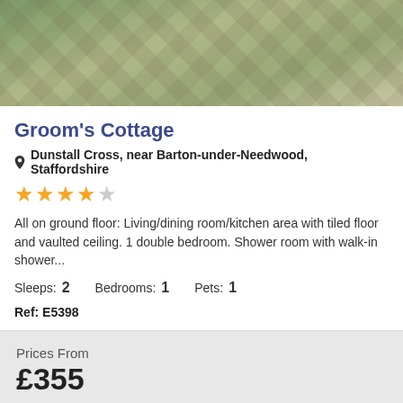[Figure (photo): Exterior photo of cobblestone paving with green vegetation at top, partial view of wooden structure on left]
Groom's Cottage
Dunstall Cross, near Barton-under-Needwood, Staffordshire
[Figure (other): 4.5 star rating shown as orange stars]
All on ground floor: Living/dining room/kitchen area with tiled floor and vaulted ceiling. 1 double bedroom. Shower room with walk-in shower...
Sleeps: 2    Bedrooms: 1    Pets: 1
Ref: E5398
Prices From
£355
View Details ›
[Figure (photo): Partial photo strip at bottom showing orange/warm toned image]
Filter Your Search